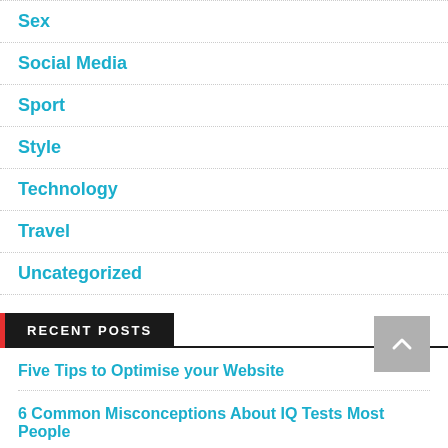Sex
Social Media
Sport
Style
Technology
Travel
Uncategorized
RECENT POSTS
Five Tips to Optimise your Website
6 Common Misconceptions About IQ Tests Most People